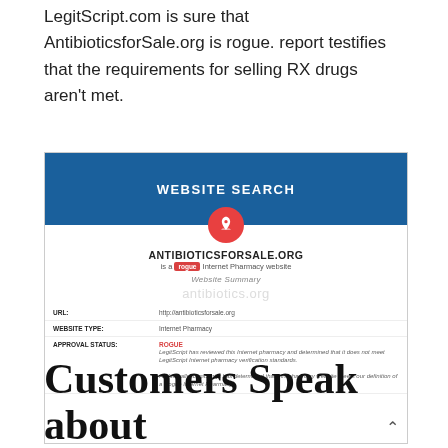LegitScript.com is sure that AntibioticsforSale.org is rogue. report testifies that the requirements for selling RX drugs aren't met.
[Figure (screenshot): Screenshot of LegitScript.com Website Search result for ANTIBIOTICSFORSALE.ORG showing it is a rogue Internet Pharmacy website. Fields shown: URL: http://antibioticsforsale.org, WEBSITE TYPE: Internet Pharmacy, APPROVAL STATUS: ROGUE. Description states LegitScript has reviewed this internet pharmacy and determined that it does not meet LegitScript Internet pharmacy verification standards. Additionally, LegitScript has determined that this pharmacy website meets our definition of a Rogue Internet Pharmacy.]
Customers Speak about